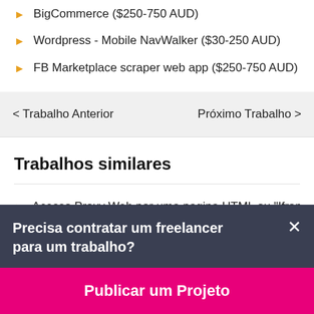BigCommerce ($250-750 AUD)
Wordpress - Mobile NavWalker ($30-250 AUD)
FB Marketplace scraper web app ($250-750 AUD)
< Trabalho Anterior
Próximo Trabalho >
Trabalhos similares
Acesso Proxy Web por uma pagina HTML ou "Iframe" ($50-
Precisa contratar um freelancer para um trabalho?
Publicar um Projeto